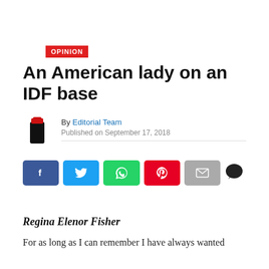OPINION
An American lady on an IDF base
By Editorial Team
Published on September 17, 2018
[Figure (infographic): Social sharing buttons: Facebook, Twitter, WhatsApp, Pinterest, Email, and a comment icon]
Regina Elenor Fisher
For as long as I can remember I have always wanted